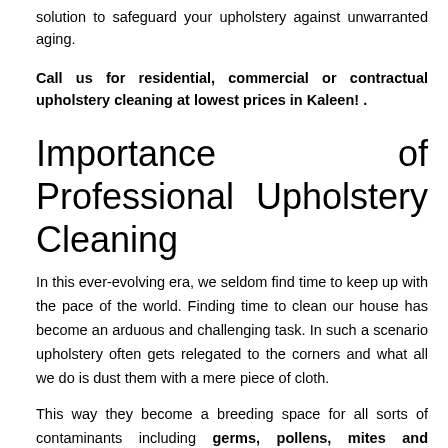solution to safeguard your upholstery against unwarranted aging.
Call us for residential, commercial or contractual upholstery cleaning at lowest prices in Kaleen! .
Importance of Professional Upholstery Cleaning
In this ever-evolving era, we seldom find time to keep up with the pace of the world. Finding time to clean our house has become an arduous and challenging task. In such a scenario upholstery often gets relegated to the corners and what all we do is dust them with a mere piece of cloth.
This way they become a breeding space for all sorts of contaminants including germs, pollens, mites and microbes.